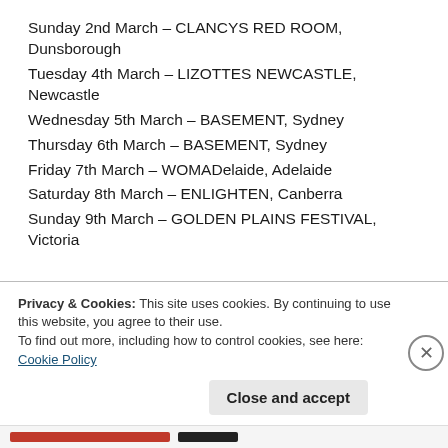Sunday 2nd March – CLANCYS RED ROOM, Dunsborough
Tuesday 4th March – LIZOTTES NEWCASTLE, Newcastle
Wednesday 5th March – BASEMENT, Sydney
Thursday 6th March – BASEMENT, Sydney
Friday 7th March – WOMADelaide, Adelaide
Saturday 8th March – ENLIGHTEN, Canberra
Sunday 9th March – GOLDEN PLAINS FESTIVAL, Victoria
Privacy & Cookies: This site uses cookies. By continuing to use this website, you agree to their use. To find out more, including how to control cookies, see here: Cookie Policy